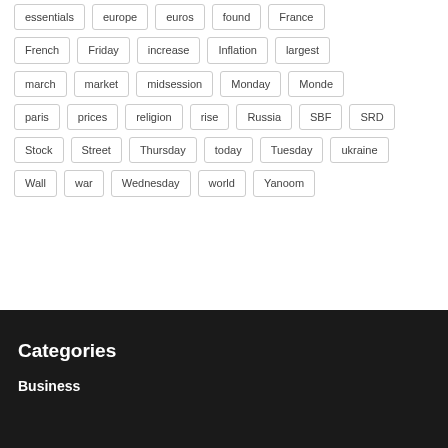essentials, europe, euros, found, France
French, Friday, increase, Inflation, largest
march, market, midsession, Monday, Monde
paris, prices, religion, rise, Russia, SBF, SRD
Stock, Street, Thursday, today, Tuesday, ukraine
Wall, war, Wednesday, world, Yanoom
Categories
Business